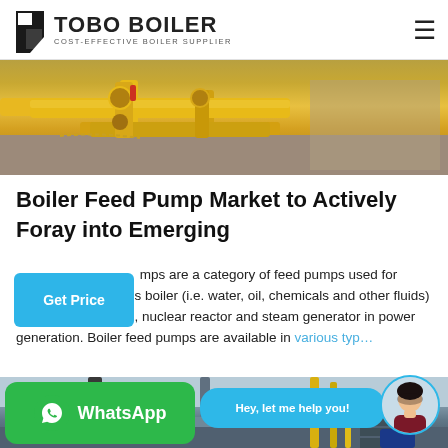TOBO BOILER — COST-EFFECTIVE BOILER SUPPLIER
[Figure (photo): Yellow industrial pipes and fittings on a concrete floor, overhead view]
Boiler Feed Pump Market to Actively Foray into Emerging
pumps are a category of feed pumps used for supplying ial process boiler (i.e. water, oil, chemicals and other fluids) as well as in marine, nuclear reactor and steam generator in power generation. Boiler feed pumps are available in various typ…
[Figure (photo): Industrial boiler equipment inside a factory building with yellow structural elements]